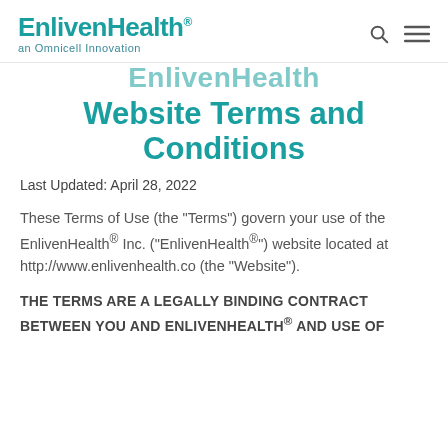EnlivenHealth® an Omnicell Innovation
EnlivenHealth Website Terms and Conditions
Last Updated: April 28, 2022
These Terms of Use (the "Terms") govern your use of the EnlivenHealth® Inc. ("EnlivenHealth®") website located at http://www.enlivenhealth.co (the "Website").
THE TERMS ARE A LEGALLY BINDING CONTRACT BETWEEN YOU AND ENLIVENHEALTH® AND USE OF